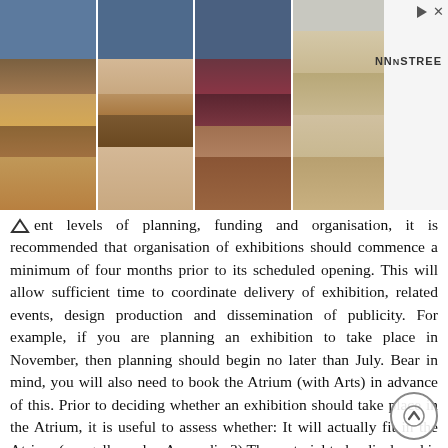[Figure (photo): Advertisement banner showing four pairs of women's shoes/heels against a light background, with NNSTREE branding on the right side and play/close icons in the top right corner.]
ent levels of planning, funding and organisation, it is recommended that organisation of exhibitions should commence a minimum of four months prior to its scheduled opening. This will allow sufficient time to coordinate delivery of exhibition, related events, design production and dissemination of publicity. For example, if you are planning an exhibition to take place in November, then planning should begin no later than July. Bear in mind, you will also need to book the Atrium (with Arts) in advance of this. Prior to deciding whether an exhibition should take place in the Atrium, it is useful to assess whether: It will actually fit in the Atrium (see gallery plan Appendix 3) The material to be displayed is suitable in terms of value and content (NOTE: the Atrium does not have dedicated security or invigilation. This may affect content selected for exhibition and the way in which items are securely displayed.) 1